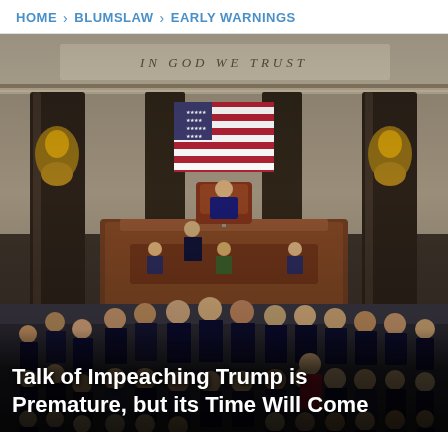HOME > BLUMSLAW > EARLY WARNINGS
[Figure (photo): Photo of the U.S. House of Representatives chamber with members gathered on the floor. A presiding officer, likely Speaker Nancy Pelosi, sits at the raised dais in the center. The American flag hangs behind the dais. The inscription 'IN GOD WE TRUST' is visible above. Many legislators in dark suits are standing and conversing on the floor.]
Talk of Impeaching Trump is Premature, but its Time Will Come